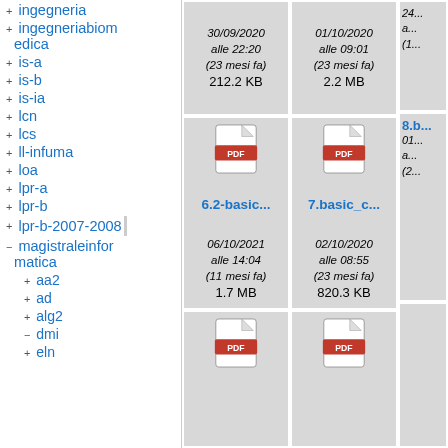+ ingegneria
+ ingegneriabiom edica
+ is-a
+ is-b
+ is-ia
+ lcn
+ lcs
+ ll-infuma
+ loa
+ lpr-a
+ lpr-b
+ lpr-b-2007-2008
- magistraleinfor matica
+ aa2
+ ad
+ alg2
- dmi
+ eln
[Figure (screenshot): File grid showing PDF files. First row: file dated 30/09/2020 alle 22:20 (23 mesi fa) 212.2 KB, file dated 01/10/2020 alle 09:01 (23 mesi fa) 2.2 MB, partial third column. Second row: 6.2-basic... dated 06/10/2021 alle 14:04 (11 mesi fa) 1.7 MB; 7.basic_c... dated 02/10/2020 alle 08:55 (23 mesi fa) 820.3 KB; partial 8.b... Third row: two more PDF icons visible.]